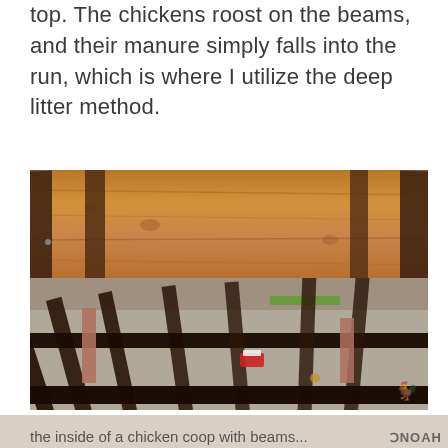top. The chickens roost on the beams, and their manure simply falls into the run, which is where I utilize the deep litter method.
[Figure (photo): Interior view of a chicken coop showing wooden roosting beams/slats viewed from below, with a wooden panel wall in the background, legs/posts supporting the structure, and gravel ground beneath. A small red and white object is visible on the ground.]
the inside of a chicken coop with beams...